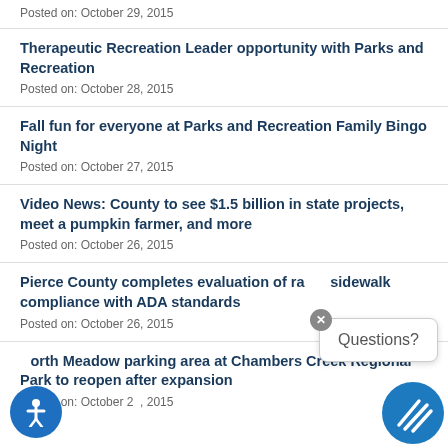Posted on: October 29, 2015
Therapeutic Recreation Leader opportunity with Parks and Recreation
Posted on: October 28, 2015
Fall fun for everyone at Parks and Recreation Family Bingo Night
Posted on: October 27, 2015
Video News: County to see $1.5 billion in state projects, meet a pumpkin farmer, and more
Posted on: October 26, 2015
Pierce County completes evaluation of ramp sidewalk compliance with ADA standards
Posted on: October 26, 2015
North Meadow parking area at Chambers Creek Regional Park to reopen after expansion
Posted on: October 26, 2015